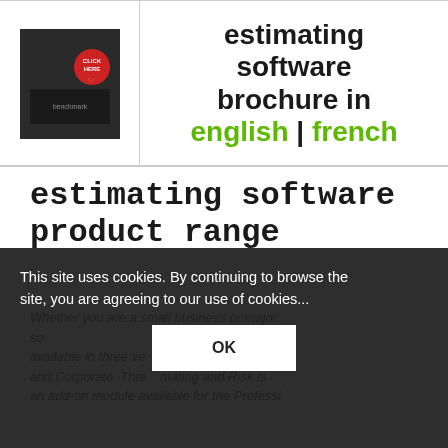[Figure (screenshot): A table row with two cells: left cell contains a brochure thumbnail with a red CLICK HERE badge; right cell contains large bold text reading 'estimating software brochure in english | french' with english and french in green.]
estimating software product range
Whether you are a small business or major ... software ... is available in three ve...pact, Professional and Corporate. Three ...mating and Risk is an add-on module available for the Professio...
This site uses cookies. By continuing to browse the site, you are agreeing to our use of cookies...